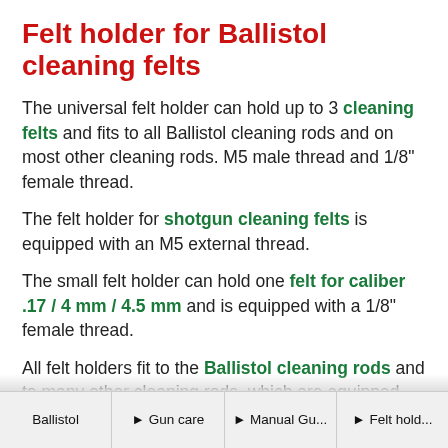Felt holder for Ballistol cleaning felts
The universal felt holder can hold up to 3 cleaning felts and fits to all Ballistol cleaning rods and on most other cleaning rods. M5 male thread and 1/8" female thread.
The felt holder for shotgun cleaning felts is equipped with an M5 external thread.
The small felt holder can hold one felt for caliber .17 / 4 mm / 4.5 mm and is equipped with a 1/8" female thread.
All felt holders fit to the Ballistol cleaning rods and to many other cleaning rods, which are equipped with the same threads.
Ballistol ► Gun care ► Manual Gu... ► Felt hold...